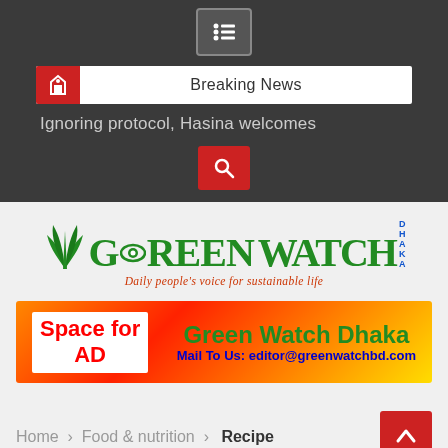Menu icon / navigation bar
Breaking News
Ignoring protocol, Hasina welcomes
[Figure (logo): Green Watch Dhaka logo with palm leaf and eye icon. Tagline: Daily people's voice for sustainable life]
[Figure (infographic): Advertisement banner: Space for AD | Green Watch Dhaka | Mail To Us: editor@greenwatchbd.com]
Home > Food & nutrition > Recipe